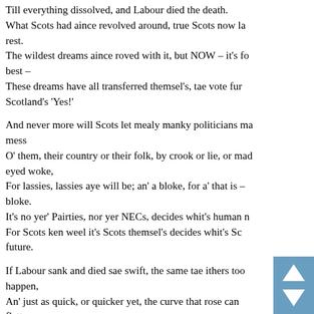Till everything dissolved, and Labour died the death.
What Scots had aince revolved around, true Scots now la rest.
The wildest dreams aince roved with it, but NOW – it's fo best –
These dreams have all transferred themsel's, tae vote fu Scotland's 'Yes!'

And never more will Scots let mealy manky politicians ma mess
O' them, their country or their folk, by crook or lie, or mad eyed woke,
For lassies, lassies aye will be; an' a bloke, for a' that is – bloke.
It's no yer' Pairties, nor yer NECs, decides whit's human n
For Scots ken weel it's Scots themsel's decides whit's Sc future.

If Labour sank and died sae swift, the same tae ithers too happen,
An' just as quick, or quicker yet, the curve that rose can flatten,
Falter, fail, an' doonward spiral, descend and cras